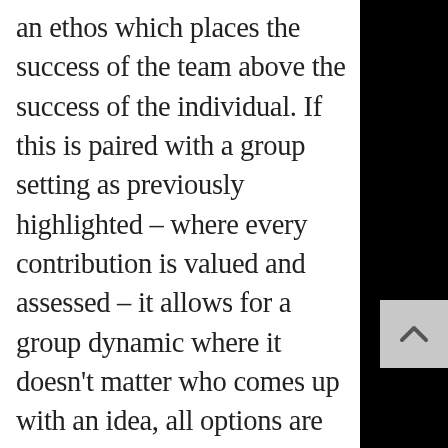an ethos which places the success of the team above the success of the individual. If this is paired with a group setting as previously highlighted – where every contribution is valued and assessed – it allows for a group dynamic where it doesn't matter who comes up with an idea, all options are objectively ranked to determine the best course of action. It is also highly important that every group member trusts and respects every other member's opinion. This allows for critical assessment and the passionate exchange of ideas without any animosity; as each individual is certain that there is no personal undertone to any of these exchanges, and is aware each group member is simply looking